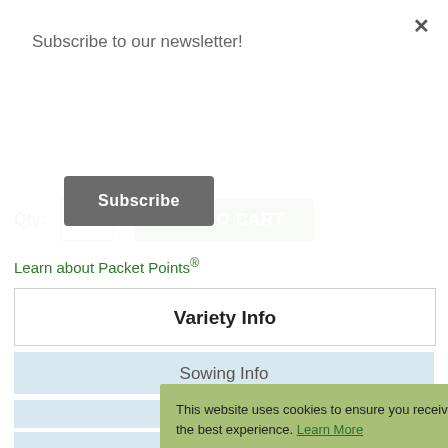Subscribe to our newsletter!
Subscribe
Qty:
ADD TO CART
Learn about Packet Points®
Variety Info
Sowing Info
This website uses cookies to ensure you receive the best experience. Learn More
ACCEPT